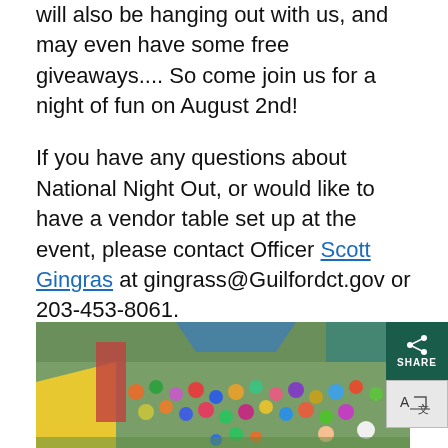will also be hanging out with us, and may even have some free giveaways.... So come join us for a night of fun on August 2nd!
If you have any questions about National Night Out, or would like to have a vendor table set up at the event, please contact Officer Scott Gingras at gingrass@Guilfordct.gov or 203-453-8061.
[Figure (photo): Outdoor community event showing a large crowd of people, including children and adults, gathered on a grassy area with colorful tents visible. People appear to be dancing or playing.]